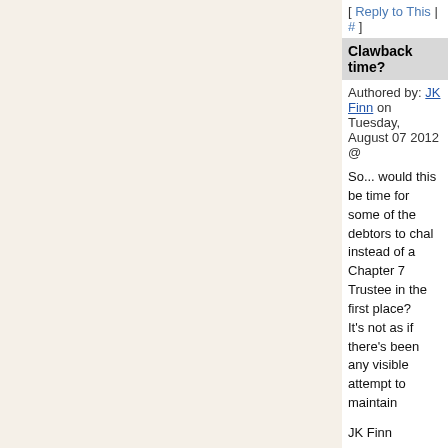[ Reply to This | # ]
Clawback time?
Authored by: JK Finn on Tuesday, August 07 2012 @
So... would this be time for some of the debtors to ch... instead of a Chapter 7 Trustee in the first place? It's not as if there's been any visible attempt to maintain...
JK Finn
[ Reply to This | # ]
Novell's money? - Authored by: Anonymous o...
Novell's money? -- What about the 40... @ 03:20 PM EDT
Novell's money? -- What abou... August 07 2012 @ 03:34 PM ED...
You've got that back to... 2012 @ 03:50 PM EDT
You've got that ... August 07 2012 ...
You've got that ... August 07 2012 ...
Novell's money? -- Wh... Wednesday, August 08 2...
Novell's money?... Wednesday, Aug...
Novell's money?... Wednesday, Aug...
Novell Reservation of Rights? (maybe wron... 07 2012 @ 07:32 PM EDT